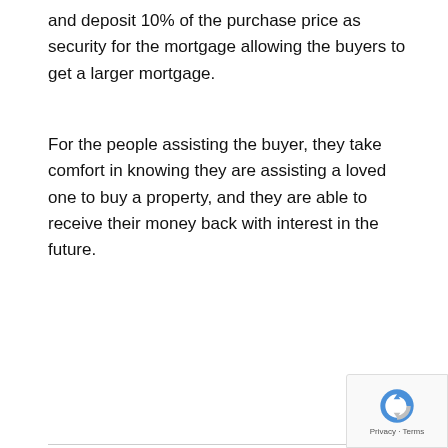and deposit 10% of the purchase price as security for the mortgage allowing the buyers to get a larger mortgage.
For the people assisting the buyer, they take comfort in knowing they are assisting a loved one to buy a property, and they are able to receive their money back with interest in the future.
[Figure (other): Social sharing buttons: Facebook (blue), Twitter (light blue), Pinterest (red), WhatsApp (green)]
Previous article
ERP Features You Need for Effective Business
N...
Dealing with Re... Toothaches Causing